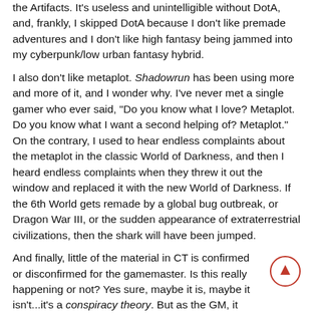the Artifacts. It's useless and unintelligible without DotA, and, frankly, I skipped DotA because I don't like premade adventures and I don't like high fantasy being jammed into my cyberpunk/low urban fantasy hybrid.
I also don't like metaplot. Shadowrun has been using more and more of it, and I wonder why. I've never met a single gamer who ever said, "Do you know what I love? Metaplot. Do you know what I want a second helping of? Metaplot." On the contrary, I used to hear endless complaints about the metaplot in the classic World of Darkness, and then I heard endless complaints when they threw it out the window and replaced it with the new World of Darkness. If the 6th World gets remade by a global bug outbreak, or Dragon War III, or the sudden appearance of extraterrestrial civilizations, then the shark will have been jumped.
And finally, little of the material in CT is confirmed or disconfirmed for the gamemaster. Is this really happening or not? Yes sure, maybe it is, maybe it isn't...it's a conspiracy theory. But as the GM, it would help me a lot if I knew.